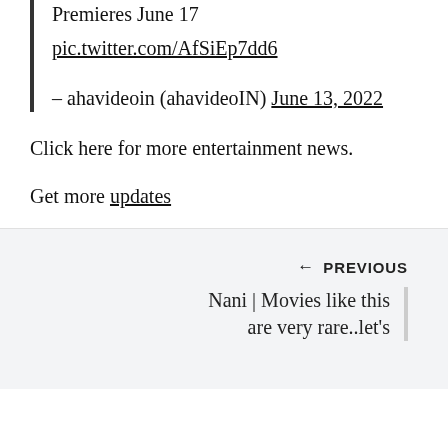#MegaFinale with #Megastar Episode Premieres June 17
pic.twitter.com/AfSiEp7dd6
– ahavideoin (ahavideoIN) June 13, 2022
Click here for more entertainment news.
Get more updates
← PREVIOUS
Nani | Movies like this are very rare..let's